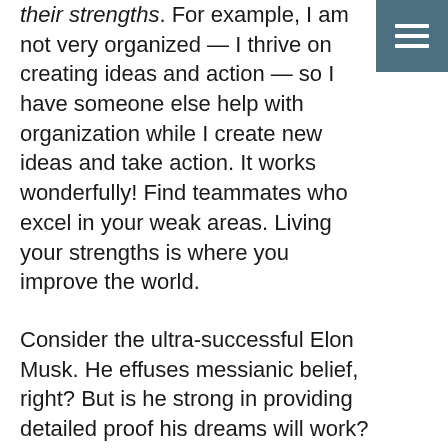their strengths. For example, I am not very organized — I thrive on creating ideas and action — so I have someone else help with organization while I create new ideas and take action. It works wonderfully! Find teammates who excel in your weak areas. Living your strengths is where you improve the world.
Consider the ultra-successful Elon Musk. He effuses messianic belief, right? But is he strong in providing detailed proof his dreams will work? No, he does not appear to care about that. His brilliant insights into the future, combined with his incredible